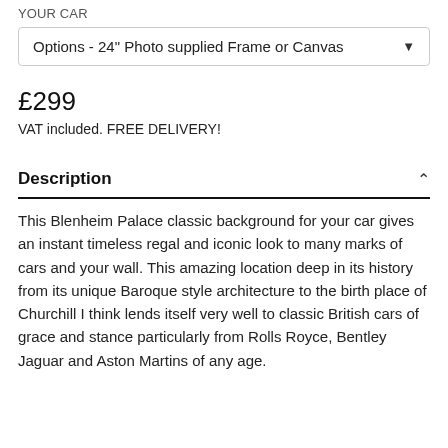YOUR CAR
Options - 24" Photo supplied Frame or Canvas
£299
VAT included. FREE DELIVERY!
Description
This Blenheim Palace classic background for your car gives an instant timeless regal and iconic look to many marks of cars and your wall. This amazing location deep in its history from its unique Baroque style architecture to the birth place of Churchill I think lends itself very well to classic British cars of grace and stance particularly from Rolls Royce, Bentley Jaguar and Aston Martins of any age.